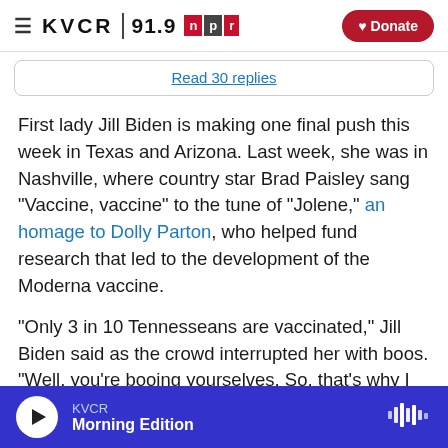KVCR 91.9 NPR — Donate
Read 30 replies
First lady Jill Biden is making one final push this week in Texas and Arizona. Last week, she was in Nashville, where country star Brad Paisley sang "Vaccine, vaccine" to the tune of "Jolene," an homage to Dolly Parton, who helped fund research that led to the development of the Moderna vaccine.
"Only 3 in 10 Tennesseans are vaccinated," Jill Biden said as the crowd interrupted her with boos. "Well, you're booing yourselves. So, that's why I
KVCR — Morning Edition